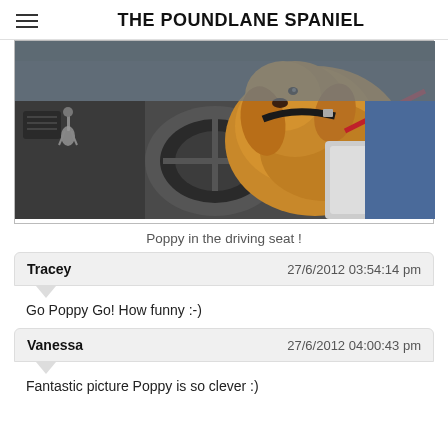THE POUNDLANE SPANIEL
[Figure (photo): A golden/brown spaniel dog sitting in the front seat of a car near the steering wheel, wearing a red lead and black collar. Car interior visible with keys in ignition, dashboard, and passenger seat.]
Poppy in the driving seat !
Tracey   27/6/2012 03:54:14 pm
Go Poppy Go! How funny :-)
Vanessa   27/6/2012 04:00:43 pm
Fantastic picture Poppy is so clever :)